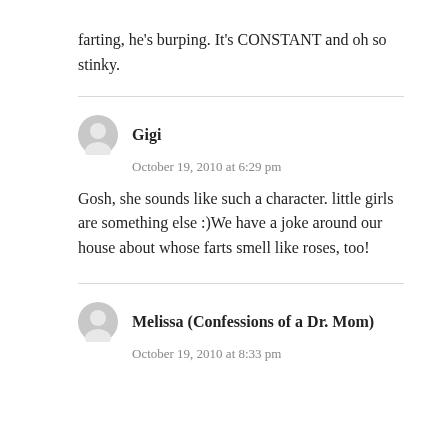farting, he's burping. It's CONSTANT and oh so stinky.
Gigi
October 19, 2010 at 6:29 pm
Gosh, she sounds like such a character. little girls are something else :)We have a joke around our house about whose farts smell like roses, too!
Melissa (Confessions of a Dr. Mom)
October 19, 2010 at 8:33 pm